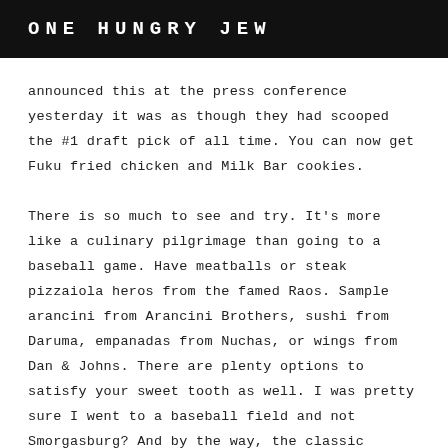ONE HUNGRY JEW
announced this at the press conference yesterday it was as though they had scooped the #1 draft pick of all time. You can now get Fuku fried chicken and Milk Bar cookies.

There is so much to see and try. It's more like a culinary pilgrimage than going to a baseball game. Have meatballs or steak pizzaiola heros from the famed Raos. Sample arancini from Arancini Brothers, sushi from Daruma, empanadas from Nuchas, or wings from Dan & Johns. There are plenty options to satisfy your sweet tooth as well. I was pretty sure I went to a baseball field and not Smorgasburg? And by the way, the classic standby of a Nathan's dog and a beer are of course available. Check